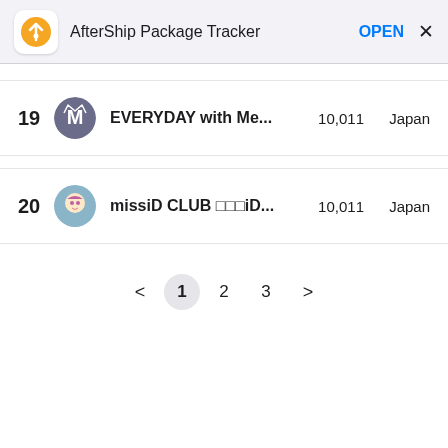AfterShip Package Tracker   OPEN  X
| # | Icon | Channel | Subscribers | Country |
| --- | --- | --- | --- | --- |
| 19 |  | EVERYDAY with Me... | 10,011 | Japan |
| 20 |  | missiD CLUB □□□iD... | 10,011 | Japan |
< 1 2 3 >